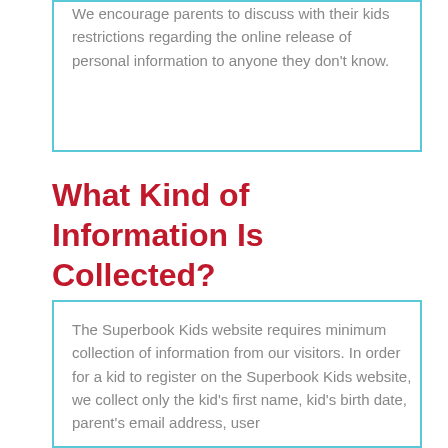We encourage parents to discuss with their kids restrictions regarding the online release of personal information to anyone they don't know.
What Kind of Information Is Collected?
The Superbook Kids website requires minimum collection of information from our visitors. In order for a kid to register on the Superbook Kids website, we collect only the kid's first name, kid's birth date, parent's email address, user